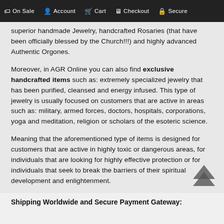On Sale  Account  Cart  Checkout  Secure
superior handmade Jewelry, handcrafted Rosaries (that have been officially blessed by the Church!!!) and highly advanced Authentic Orgones.
Moreover, in AGR Online you can also find exclusive handcrafted items such as: extremely specialized jewelry that has been purified, cleansed and energy infused. This type of jewelry is usually focused on customers that are active in areas such as: military, armed forces, doctors, hospitals, corporations, yoga and meditation, religion or scholars of the esoteric science.
Meaning that the aforementioned type of items is designed for customers that are active in highly toxic or dangerous areas, for individuals that are looking for highly effective protection or for individuals that seek to break the barriers of their spiritual development and enlightenment.
Shipping Worldwide and Secure Payment Gateway: